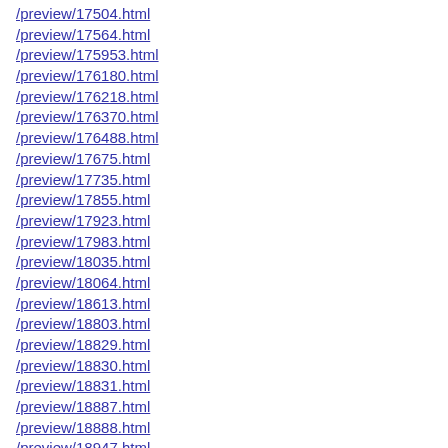/preview/17504.html
/preview/17564.html
/preview/175953.html
/preview/176180.html
/preview/176218.html
/preview/176370.html
/preview/176488.html
/preview/17675.html
/preview/17735.html
/preview/17855.html
/preview/17923.html
/preview/17983.html
/preview/18035.html
/preview/18064.html
/preview/18613.html
/preview/18803.html
/preview/18829.html
/preview/18830.html
/preview/18831.html
/preview/18887.html
/preview/18888.html
/preview/18947.html
/preview/19003.html
/preview/19108.html
/preview/19166.html